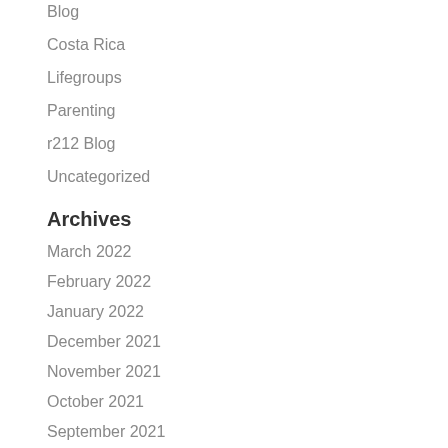Blog
Costa Rica
Lifegroups
Parenting
r212 Blog
Uncategorized
Archives
March 2022
February 2022
January 2022
December 2021
November 2021
October 2021
September 2021